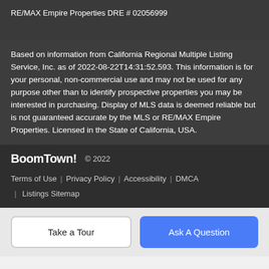RE/MAX Empire Properties DRE # 02056999
Based on information from California Regional Multiple Listing Service, Inc. as of 2022-08-22T14:31:52.593. This information is for your personal, non-commercial use and may not be used for any purpose other than to identify prospective properties you may be interested in purchasing. Display of MLS data is deemed reliable but is not guaranteed accurate by the MLS or RE/MAX Empire Properties. Licensed in the State of California, USA.
BoomTown! © 2022 Terms of Use | Privacy Policy | Accessibility | DMCA | Listings Sitemap
Take a Tour
Ask A Question